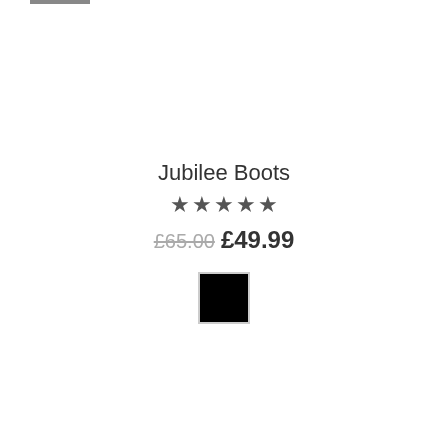Jubilee Boots
★★★★★
£65.00 £49.99
[Figure (other): Black color swatch square]